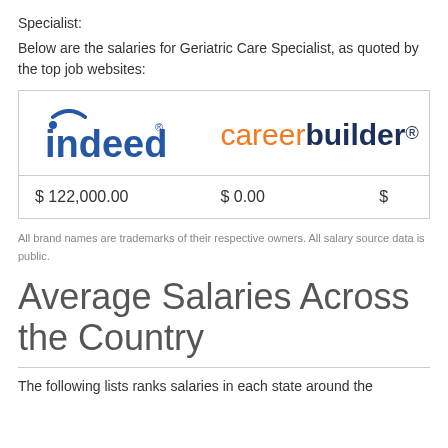Specialist:
Below are the salaries for Geriatric Care Specialist, as quoted by the top job websites:
| Indeed | careerbuilder |  |
| --- | --- | --- |
| $ 122,000.00 | $ 0.00 | $ |
All brand names are trademarks of their respective owners. All salary source data is public.
Average Salaries Across the Country
The following lists ranks salaries in each state around the